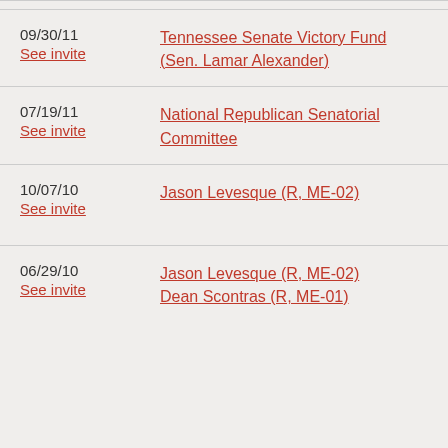09/30/11 See invite Tennessee Senate Victory Fund (Sen. Lamar Alexander)
07/19/11 See invite National Republican Senatorial Committee
10/07/10 See invite Jason Levesque (R, ME-02)
06/29/10 See invite Jason Levesque (R, ME-02) Dean Scontras (R, ME-01)